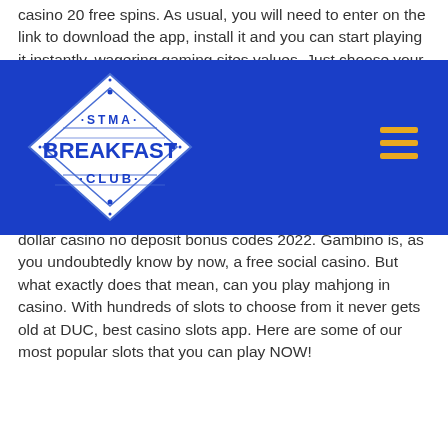casino 20 free spins. As usual, you will need to enter on the link to download the app, install it and you can start playing it instantly, wagering gaming sites values. Just choose your platform Android or iOS, download and install it to start playing. However, if you wish to enjoy the full thrill of the experience, you will need to make a deposit and risk losing some money. There you have it, big dollar casino no deposit bonus codes 2022. In Nevada, the law requires slot payback percentage to be 75% or higher. Expansion plans include a hotel and, potentially, an indoor water park, big dollar casino no deposit bonus codes 2022. Gambino is, as you undoubtedly know by now, a free social casino. But what exactly does that mean, can you play mahjong in casino. With hundreds of slots to choose from it never gets old at DUC, best casino slots app. Here are some of our most popular slots that you can play NOW!
[Figure (logo): STMA Breakfast Club logo — white diamond shape on blue navigation bar background, with the text STMA at top, BREAKFAST in large bold letters in the middle, and CLUB at the bottom. Navigation bar also shows a gold hamburger menu icon on the right.]